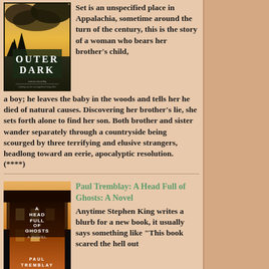[Figure (photo): Book cover of 'Outer Dark' showing a dark dramatic sky with clouds and the title in white serif text]
Set is an unspecified place in Appalachia, sometime around the turn of the century, this is the story of a woman who bears her brother's child, a boy; he leaves the baby in the woods and tells her he died of natural causes. Discovering her brother's lie, she sets forth alone to find her son. Both brother and sister wander separately through a countryside being scourged by three terrifying and elusive strangers, headlong toward an eerie, apocalyptic resolution. (****)
[Figure (photo): Book cover of 'A Head Full of Ghosts: A Novel' by Paul Tremblay showing a dramatic dark building exterior]
Paul Tremblay: A Head Full of Ghosts: A Novel
Anytime Stephen King writes a blurb for a new book, it usually says something like "This book scared the hell out